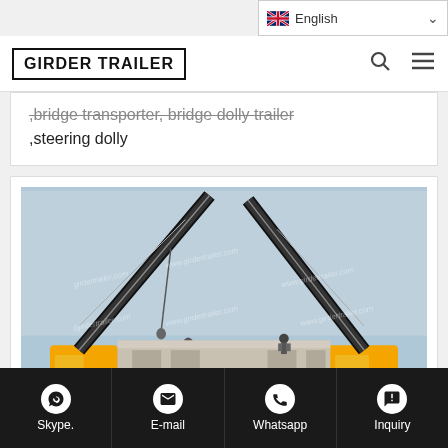🇬🇧 English
GIRDER TRAILER
,bridge transporter, bridge dolly trailer ,steering dolly
[Figure (photo): Two large yellow mobile cranes with extended booms operating at a construction site, with workers visible on top of a concrete structure. Watermark: www.girdertrailer.com]
Skype.  E-mail  Whatsapp  Inquiry